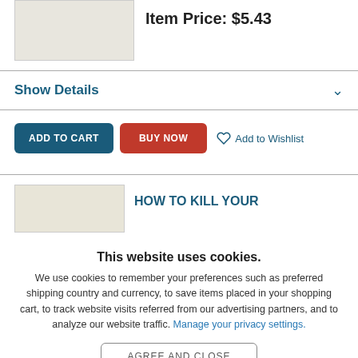[Figure (photo): Product image placeholder (light beige rectangle)]
Item Price: $5.43
Show Details
ADD TO CART  BUY NOW  Add to Wishlist
[Figure (photo): Next product image placeholder (light beige rectangle)]
HOW TO KILL YOUR
This website uses cookies.
We use cookies to remember your preferences such as preferred shipping country and currency, to save items placed in your shopping cart, to track website visits referred from our advertising partners, and to analyze our website traffic. Manage your privacy settings.
AGREE AND CLOSE